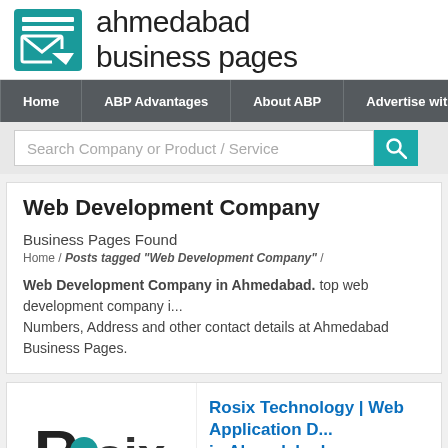[Figure (logo): Ahmedabad Business Pages logo with teal icon and text]
Home | ABP Advantages | About ABP | Advertise with
Search Company or Product / Service
Web Development Company
Business Pages Found
Home / Posts tagged "Web Development Company" /
Web Development Company in Ahmedabad. top web development company i... Numbers, Address and other contact details at Ahmedabad Business Pages.
Rosix Technology | Web Application D... in Ahmedabad
www.rosixtechnology.com Page Visit 2034